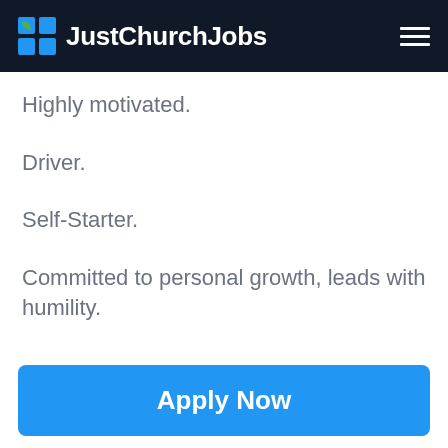JustChurchJobs
Highly motivated.
Driver.
Self-Starter.
Committed to personal growth, leads with humility.
Passion for serving the community.
Apply Now